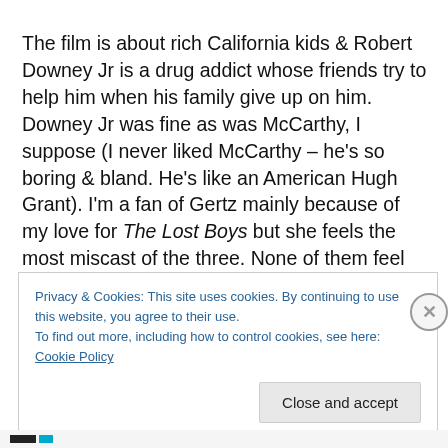The film is about rich California kids & Robert Downey Jr is a drug addict whose friends try to help him when his family give up on him. Downey Jr was fine as was McCarthy, I suppose (I never liked McCarthy – he's so boring & bland. He's like an American Hugh Grant). I'm a fan of Gertz mainly because of my love for The Lost Boys but she feels the most miscast of the three. None of them feel quite right in their roles, though, and the story isn't
Privacy & Cookies: This site uses cookies. By continuing to use this website, you agree to their use.
To find out more, including how to control cookies, see here: Cookie Policy
Close and accept